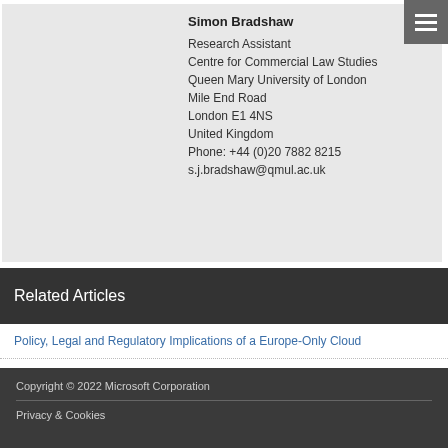Simon Bradshaw
Research Assistant
Centre for Commercial Law Studies
Queen Mary University of London
Mile End Road
London E1 4NS
United Kingdom
Phone: +44 (0)20 7882 8215
s.j.bradshaw@qmul.ac.uk
Related Articles
Policy, Legal and Regulatory Implications of a Europe-Only Cloud
The Challenge of 'Big Data' for Data Protection
Copyright © 2022 Microsoft Corporation
Privacy & Cookies